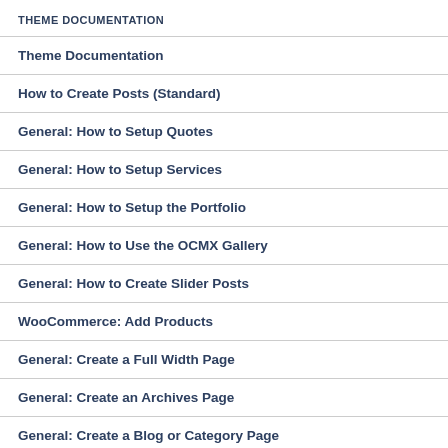THEME DOCUMENTATION
Theme Documentation
How to Create Posts (Standard)
General: How to Setup Quotes
General: How to Setup Services
General: How to Setup the Portfolio
General: How to Use the OCMX Gallery
General: How to Create Slider Posts
WooCommerce: Add Products
General: Create a Full Width Page
General: Create an Archives Page
General: Create a Blog or Category Page
General: Create Adding Featured Image Type